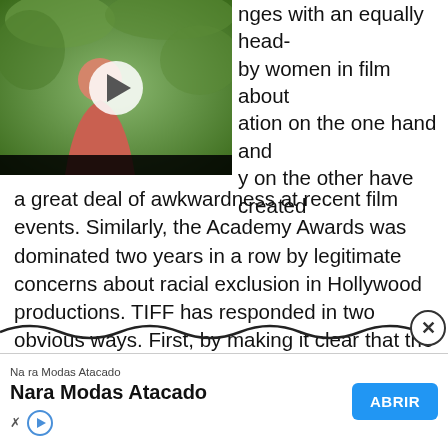[Figure (screenshot): Video thumbnail showing a person in a pink top against a green garden background, with a white play button overlay]
nges with an equally head-
by women in film about
ation on the one hand and
y on the other have created
a great deal of awkwardness at recent film events. Similarly, the Academy Awards was dominated two years in a row by legitimate concerns about racial exclusion in Hollywood productions. TIFF has responded in two obvious ways. First, by making it clear that the festival is a safe space: a strict and publicly stated no-tolerance policy for harassment or verbal abuse, particularly against women and minorities, is posted repeatedly in all TIFF lit...
[Figure (screenshot): Advertisement banner for Nara Modas Atacado with ABRIR button]